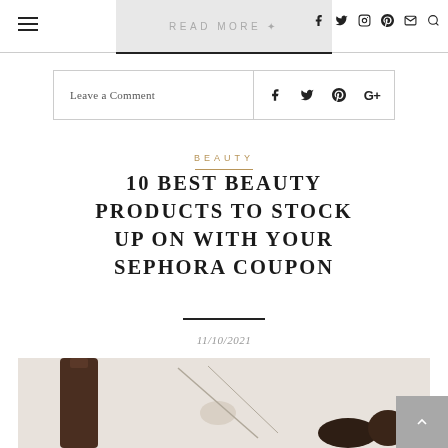READ MORE
Leave a Comment
BEAUTY
10 BEST BEAUTY PRODUCTS TO STOCK UP ON WITH YOUR SEPHORA COUPON
11/10/2021
[Figure (photo): Cosmetic beauty products flatlay photo]